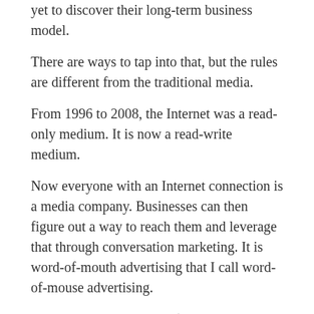yet to discover their long-term business model.
There are ways to tap into that, but the rules are different from the traditional media.
From 1996 to 2008, the Internet was a read-only medium. It is now a read-write medium.
Now everyone with an Internet connection is a media company. Businesses can then figure out a way to reach them and leverage that through conversation marketing. It is word-of-mouth advertising that I call word-of-mouse advertising.
Q: What do you mean by ‘conversation marketing’?
A: It means creating dialogue with customers in which useful information is exchanged and both parties benefit from the relationship. Internet businesses